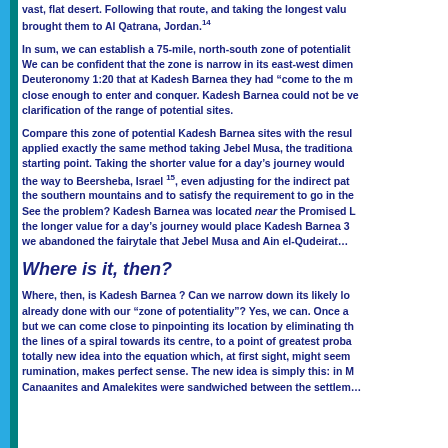vast, flat desert. Following that route, and taking the longest value brought them to Al Qatrana, Jordan.14
In sum, we can establish a 75-mile, north-south zone of potentiality. We can be confident that the zone is narrow in its east-west dimension. Deuteronomy 1:20 that at Kadesh Barnea they had “come to the mountain” close enough to enter and conquer. Kadesh Barnea could not be very far clarification of the range of potential sites.
Compare this zone of potential Kadesh Barnea sites with the results if applied exactly the same method taking Jebel Musa, the traditional Sinai starting point. Taking the shorter value for a day’s journey would the way to Beersheba, Israel 15, even adjusting for the indirect path through the southern mountains and to satisfy the requirement to go in the direction. See the problem? Kadesh Barnea was located near the Promised Land but the longer value for a day’s journey would place Kadesh Barnea 3… we abandoned the fairytale that Jebel Musa and Ain el-Qudeirat…
Where is it, then?
Where, then, is Kadesh Barnea ? Can we narrow down its likely location already done with our “zone of potentiality”? Yes, we can. Once again, but we can come close to pinpointing its location by eliminating the lines of a spiral towards its centre, to a point of greatest probability. A totally new idea into the equation which, at first sight, might seem unusual rumination, makes perfect sense. The new idea is simply this: in M… Canaanites and Amalekites were sandwiched between the settlements…